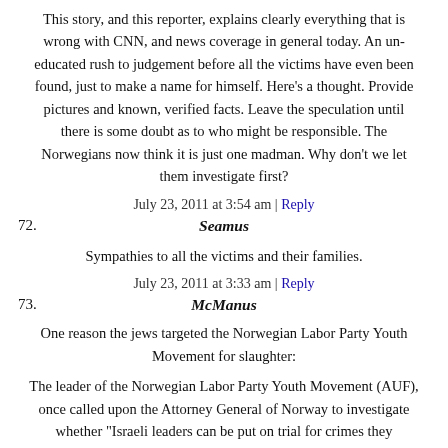This story, and this reporter, explains clearly everything that is wrong with CNN, and news coverage in general today. An un-educated rush to judgement before all the victims have even been found, just to make a name for himself. Here's a thought. Provide pictures and known, verified facts. Leave the speculation until there is some doubt as to who might be responsible. The Norwegians now think it is just one madman. Why don't we let them investigate first?
July 23, 2011 at 3:54 am | Reply
72. Seamus
Sympathies to all the victims and their families.
July 23, 2011 at 3:33 am | Reply
73. McManus
One reason the jews targeted the Norwegian Labor Party Youth Movement for slaughter:
The leader of the Norwegian Labor Party Youth Movement (AUF), once called upon the Attorney General of Norway to investigate whether "Israeli leaders can be put on trial for crimes they committed".